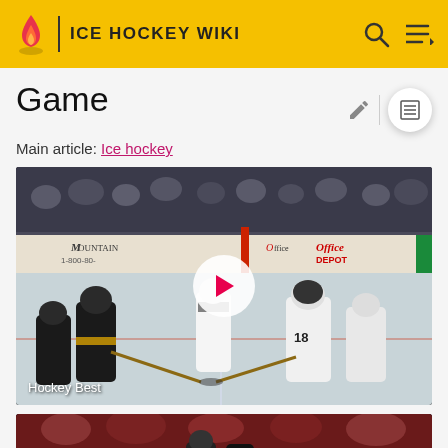ICE HOCKEY WIKI
Game
Main article: Ice hockey
[Figure (photo): Ice hockey faceoff video thumbnail showing two players facing off at center ice with a referee, rink boards visible with Mountain and Office Depot advertisements, play button overlay, labeled 'Hockey Best']
[Figure (photo): Partial view of second ice hockey video thumbnail showing players in red jerseys]